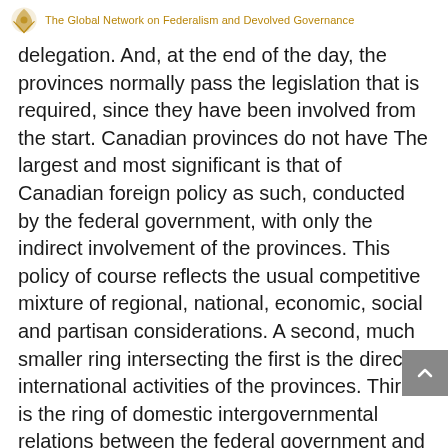The Global Network on Federalism and Devolved Governance
delegation. And, at the end of the day, the provinces normally pass the legislation that is required, since they have been involved from the start. Canadian provinces do not have The largest and most significant is that of Canadian foreign policy as such, conducted by the federal government, with only the indirect involvement of the provinces. This policy of course reflects the usual competitive mixture of regional, national, economic, social and partisan considerations. A second, much smaller ring intersecting the first is the direct international activities of the provinces. Third is the ring of domestic intergovernmental relations between the federal government and the provincial and territorial governments. This often involves international issues. This third ring overlaps significantly with the first, and a bit with the second. Federal provincial relations are not just domestic any more The third ring is the most familiar to us; the day-to-day